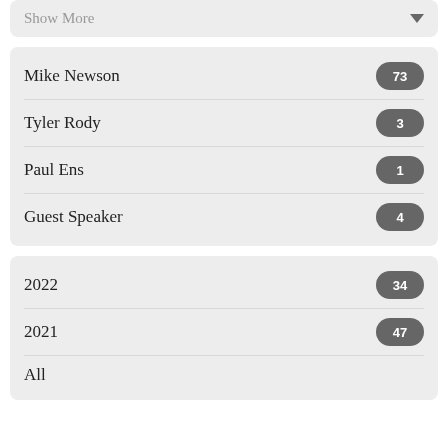Show More
Mike Newson 73
Tyler Rody 3
Paul Ens 1
Guest Speaker 4
2022 34
2021 47
All